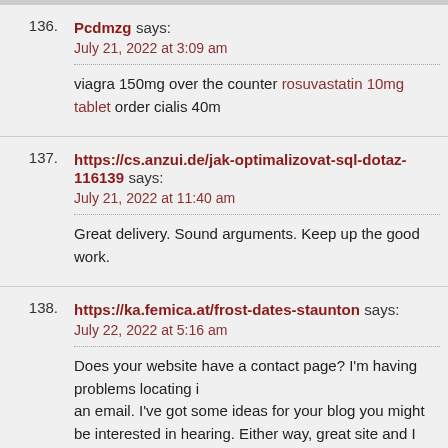136. Pcdmzg says: July 21, 2022 at 3:09 am — viagra 150mg over the counter rosuvastatin 10mg tablet order cialis 40m
137. https://cs.anzui.de/jak-optimalizovat-sql-dotaz-116139 says: July 21, 2022 at 11:40 am — Great delivery. Sound arguments. Keep up the good work.
138. https://ka.femica.at/frost-dates-staunton says: July 22, 2022 at 5:16 am — Does your website have a contact page? I'm having problems locating it an email. I've got some ideas for your blog you might be interested in hearing. Either way, great site and I look forward to